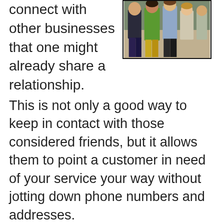connect with other businesses that one might already share a relationship.  This is not only a good way to keep in contact with those considered friends, but it allows them to point a customer in need of your service your way without jotting down phone numbers and addresses.
[Figure (photo): Group of people standing together, a business networking photo showing several individuals including a woman in green dress and others]
All of those who visit the business' page can also join the company's group which lists all new products and pricing.  The number of potential clients joining the group is a great way to see how effective Facebook is at